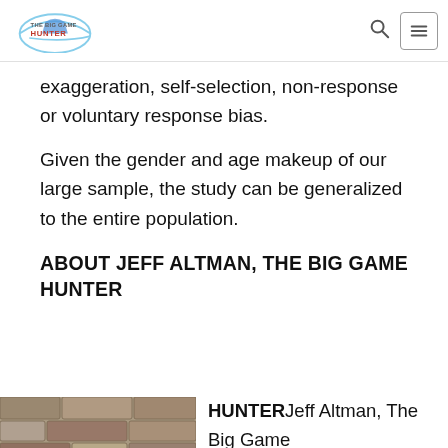THE BIG GAME HUNTER
exaggeration, self-selection, non-response or voluntary response bias.
Given the gender and age makeup of our large sample, the study can be generalized to the entire population.
ABOUT JEFF ALTMAN, THE BIG GAME HUNTER
[Figure (photo): Photo of Jeff Altman in front of a stone wall background]
Jeff Altman, The Big Game